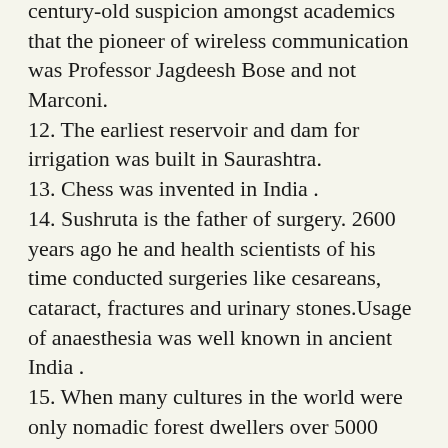century-old suspicion amongst academics that the pioneer of wireless communication was Professor Jagdeesh Bose and not Marconi.
12. The earliest reservoir and dam for irrigation was built in Saurashtra.
13. Chess was invented in India .
14. Sushruta is the father of surgery. 2600 years ago he and health scientists of his time conducted surgeries like cesareans, cataract, fractures and urinary stones.Usage of anaesthesia was well known in ancient India .
15. When many cultures in the world were only nomadic forest dwellers over 5000 years ago, Indians established Harappan culture in Sindhu Valley ( Indus Valley Civilization).
16. The place value system, the decimal system was developed in India in 100 BC.